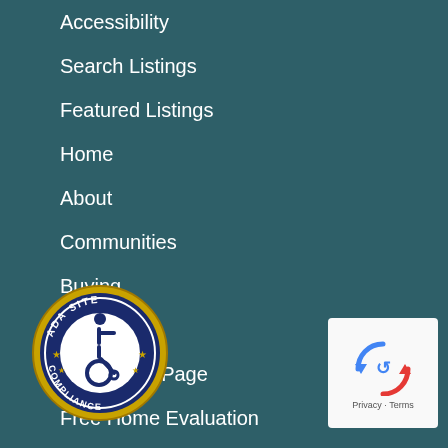Accessibility
Search Listings
Featured Listings
Home
About
Communities
Buying
Selling
Resources Page
Free Home Evaluation
Blog
...ancing
Setting Your Price
[Figure (logo): ADA Site Compliance badge with wheelchair accessibility icon in blue and gold circular seal]
[Figure (logo): reCAPTCHA widget showing arrows icon with Privacy and Terms text]